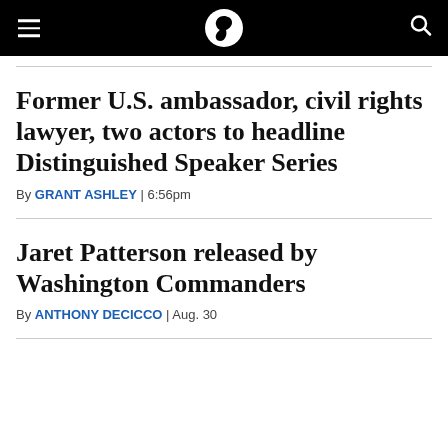Scoop logo navigation bar
Former U.S. ambassador, civil rights lawyer, two actors to headline Distinguished Speaker Series
By GRANT ASHLEY | 6:56pm
Jaret Patterson released by Washington Commanders
By ANTHONY DECICCO | Aug. 30